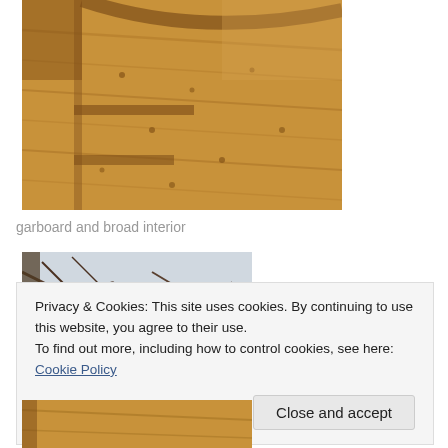[Figure (photo): Close-up photograph of wooden boat interior showing garboard and broad planking with wood grain and nail holes visible, curved structural element in upper portion]
garboard and broad interior
[Figure (photo): Partial photograph of trees or branches against a light sky]
Privacy & Cookies: This site uses cookies. By continuing to use this website, you agree to their use.
To find out more, including how to control cookies, see here: Cookie Policy
Close and accept
[Figure (photo): Partial photograph of wooden structure, bottom of page]